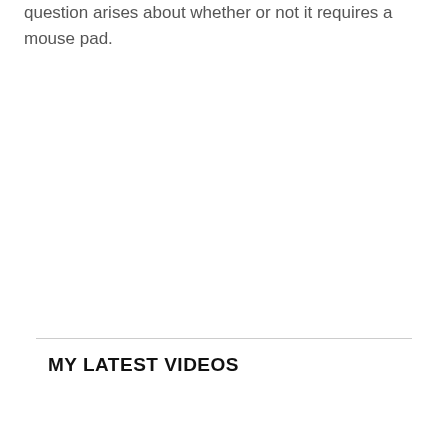question arises about whether or not it requires a mouse pad.
MY LATEST VIDEOS
[Figure (screenshot): Advertisement banner for Walgreens Photo showing 'beverages for Summer fun' text with Walgreens cursive W logo and a blue diamond arrow icon]